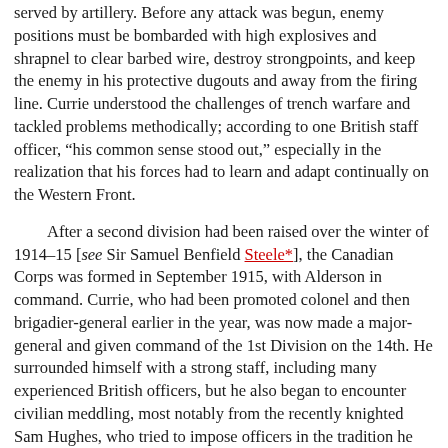served by artillery. Before any attack was begun, enemy positions must be bombarded with high explosives and shrapnel to clear barbed wire, destroy strongpoints, and keep the enemy in his protective dugouts and away from the firing line. Currie understood the challenges of trench warfare and tackled problems methodically; according to one British staff officer, “his common sense stood out,” especially in the realization that his forces had to learn and adapt continually on the Western Front.
After a second division had been raised over the winter of 1914–15 [see Sir Samuel Benfield Steele*], the Canadian Corps was formed in September 1915, with Alderson in command. Currie, who had been promoted colonel and then brigadier-general earlier in the year, was now made a major-general and given command of the 1st Division on the 14th. He surrounded himself with a strong staff, including many experienced British officers, but he also began to encounter civilian meddling, most notably from the recently knighted Sam Hughes, who tried to impose officers in the tradition he saw. Currie strenuously blocked